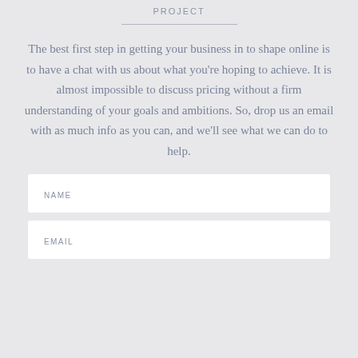PROJECT
The best first step in getting your business in to shape online is to have a chat with us about what you're hoping to achieve. It is almost impossible to discuss pricing without a firm understanding of your goals and ambitions. So, drop us an email with as much info as you can, and we'll see what we can do to help.
NAME
EMAIL